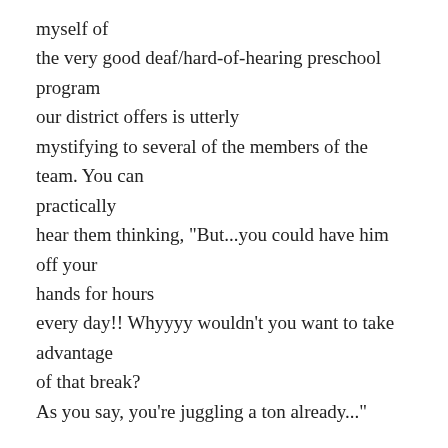myself of the very good deaf/hard-of-hearing preschool program our district offers is utterly mystifying to several of the members of the team. You can practically hear them thinking, "But...you could have him off your hands for hours every day!! Whyyyy wouldn't you want to take advantage of that break? As you say, you're juggling a ton already..."
"She homeschools her children," I heard one team member whisper to another. "OHHH," the other, who was meeting me for the first time, responded, as if that explained so much. Heck, maybe it does.
In the interest of fairness, I want to clarify that the